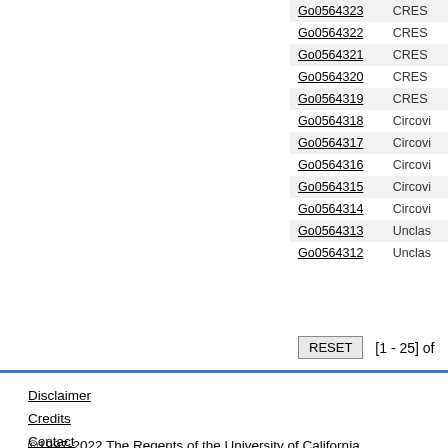| ID | Category |
| --- | --- |
| Go0564323 | CRES... |
| Go0564322 | CRES... |
| Go0564321 | CRES... |
| Go0564320 | CRES... |
| Go0564319 | CRES... |
| Go0564318 | Circovi... |
| Go0564317 | Circovi... |
| Go0564316 | Circovi... |
| Go0564315 | Circovi... |
| Go0564314 | Circovi... |
| Go0564313 | Unclas... |
| Go0564312 | Unclas... |
RESET   [1 - 25] of
Disclaimer
Credits
Contact
Accessibility / Section 508 Statement
©1997-2022 The Regents of the University of California